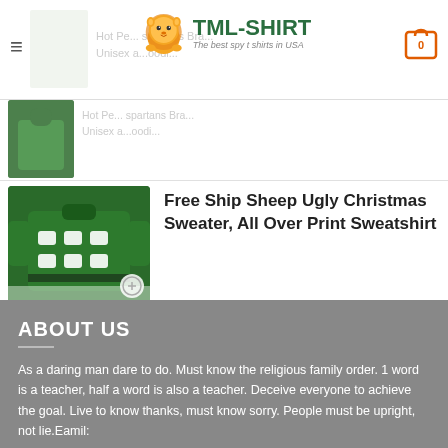TML-SHIRT — The best spy t shirts in USA
[Figure (photo): Partially visible product image of a green hoodie/sweatshirt]
Hot Pe... spartans Bra... Unisex a... oodi...
[Figure (photo): Green ugly Christmas sweater with sheep pattern]
Free Ship Sheep Ugly Christmas Sweater, All Over Print Sweatshirt
ABOUT US
As a daring man dare to do. Must know the religious family order. 1 word is a teacher, half a word is also a teacher. Deceive everyone to achieve the goal. Live to know thanks, must know sorry. People must be upright, not lie.Eamil:
tmlshirt2019@gmail.com